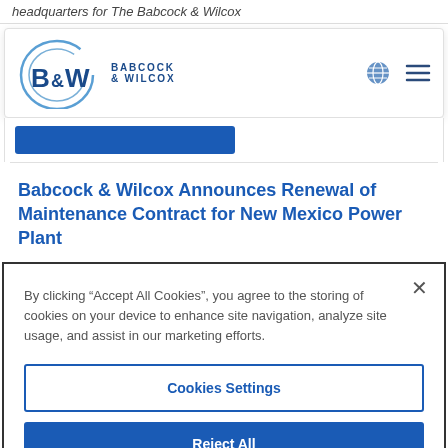headquarters for The Babcock & Wilcox
[Figure (logo): Babcock & Wilcox (B&W) company logo with circular swoosh graphic and text 'BABCOCK & WILCOX']
Babcock & Wilcox Announces Renewal of Maintenance Contract for New Mexico Power Plant
By clicking “Accept All Cookies”, you agree to the storing of cookies on your device to enhance site navigation, analyze site usage, and assist in our marketing efforts.
Cookies Settings
Reject All